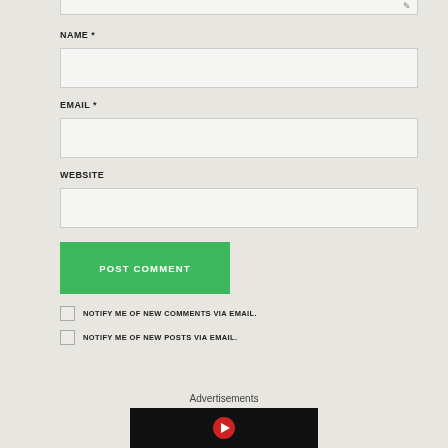[Figure (screenshot): Top portion of a textarea input box (comment area) with a pencil/edit icon in top right corner]
NAME *
[Figure (screenshot): Name input text field, white/light background, bordered]
EMAIL *
[Figure (screenshot): Email input text field, white/light background, bordered]
WEBSITE
[Figure (screenshot): Website input text field, white/light background, bordered]
[Figure (screenshot): Green POST COMMENT button]
NOTIFY ME OF NEW COMMENTS VIA EMAIL.
NOTIFY ME OF NEW POSTS VIA EMAIL.
Advertisements
[Figure (screenshot): Black advertisement area with red circle play button icon]